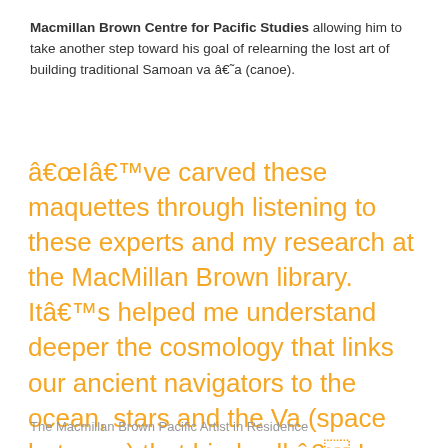Macmillan Brown Centre for Pacific Studies allowing him to take another step toward his goal of relearning the lost art of building traditional Samoan va â€˜a (canoe).
â€œIâ€™ve carved these maquettes through listening to these experts and my research at the MacMillan Brown library. Itâ€™s helped me understand deeper the cosmology that links our ancient navigators to the ocean, stars and the Va (space between) that binds all,â€ Ioane says.
The Macmillan Brown Pacific Artist in Residence